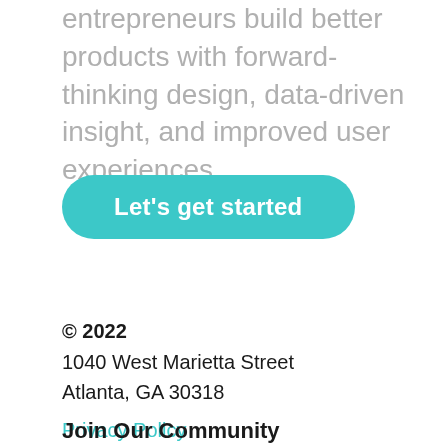entrepreneurs build better products with forward-thinking design, data-driven insight, and improved user experiences.
Let's get started
© 2022
1040 West Marietta Street
Atlanta, GA 30318
Privacy Policy
Join Our Community